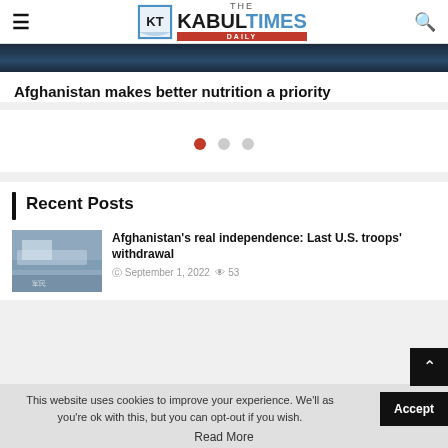THE KABUL TIMES DAILY
[Figure (photo): Dark blue/navy hero image strip at the top of the article card]
Afghanistan makes better nutrition a priority
[Figure (other): Carousel navigation dots: one red active dot followed by two grey inactive dots]
Recent Posts
[Figure (photo): Thumbnail image showing aircraft at an airport terminal with Chinese characters visible]
Afghanistan's real independence: Last U.S. troops' withdrawal
September 1, 2022 · 53
This website uses cookies to improve your experience. We'll as you're ok with this, but you can opt-out if you wish.
Read More